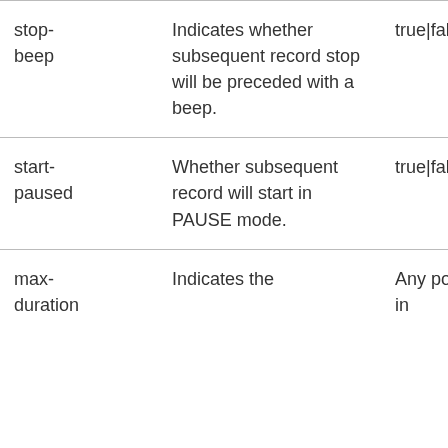| stop-beep | Indicates whether subsequent record stop will be preceded with a beep. | true|false | false | OPTI… |
| start-paused | Whether subsequent record will start in PAUSE mode. | true|false | false | OPTI… |
| max-duration | Indicates the | Any positive integer in | -1 | OPTI… |